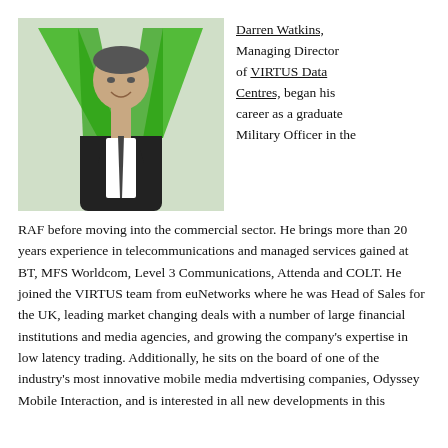[Figure (photo): Professional headshot of Darren Watkins, a man in a dark suit and tie, smiling, with a large green letter V logo visible in the background.]
Darren Watkins, Managing Director of VIRTUS Data Centres, began his career as a graduate Military Officer in the RAF before moving into the commercial sector. He brings more than 20 years experience in telecommunications and managed services gained at BT, MFS Worldcom, Level 3 Communications, Attenda and COLT. He joined the VIRTUS team from euNetworks where he was Head of Sales for the UK, leading market changing deals with a number of large financial institutions and media agencies, and growing the company's expertise in low latency trading. Additionally, he sits on the board of one of the industry's most innovative mobile media mdvertising companies, Odyssey Mobile Interaction, and is interested in all new developments in this